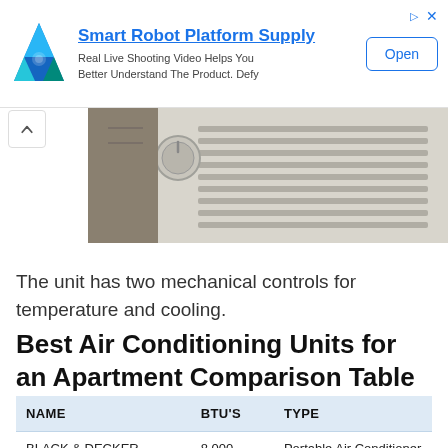[Figure (other): Advertisement banner for Smart Robot Platform Supply with triangular logo, text 'Real Live Shooting Video Helps You Better Understand The Product. Defy' and an Open button]
[Figure (photo): Close-up photo of a white portable air conditioning unit showing vents and mechanical dial controls]
The unit has two mechanical controls for temperature and cooling.
Best Air Conditioning Units for an Apartment Comparison Table
| NAME | BTU'S | TYPE |
| --- | --- | --- |
| BLACK & DECKER | 8,000 | Portable Air Conditioner |